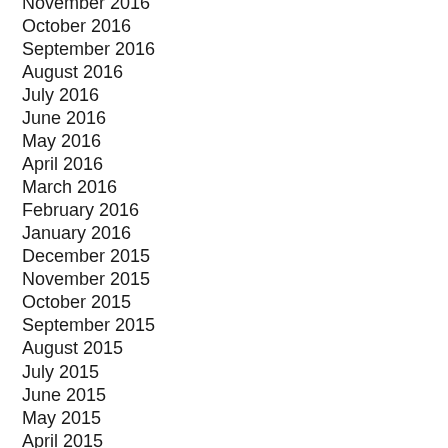November 2016
October 2016
September 2016
August 2016
July 2016
June 2016
May 2016
April 2016
March 2016
February 2016
January 2016
December 2015
November 2015
October 2015
September 2015
August 2015
July 2015
June 2015
May 2015
April 2015
March 2015
February 2015